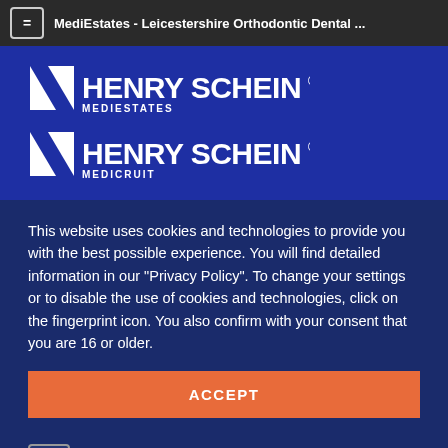MediEstates - Leicestershire Orthodontic Dental ...
[Figure (logo): Henry Schein MediEstates logo - white text on blue background with diagonal stripe mark]
[Figure (logo): Henry Schein Medicruit logo - white text on blue background with diagonal stripe mark]
This website uses cookies and technologies to provide you with the best possible experience. You will find detailed information in our "Privacy Policy". To change your settings or to disable the use of cookies and technologies, click on the fingerprint icon. You also confirm with your consent that you are 16 or older.
ACCEPT
MORE